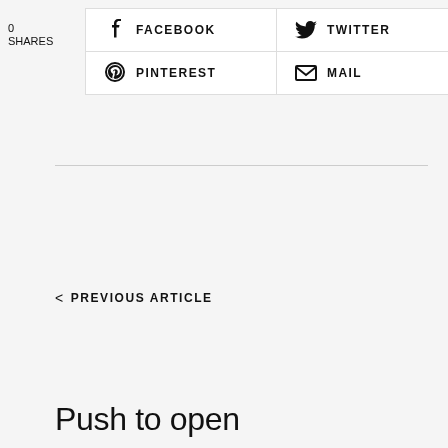0
SHARES
FACEBOOK
TWITTER
PINTEREST
MAIL
< PREVIOUS ARTICLE
Push to open